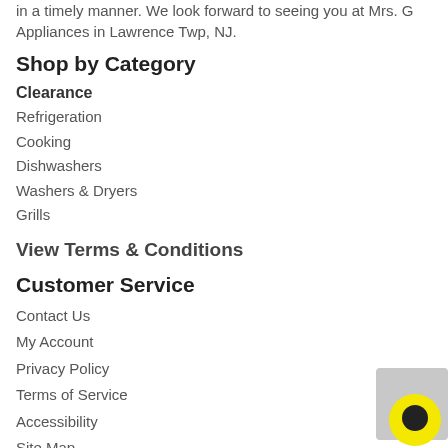in a timely manner. We look forward to seeing you at Mrs. G Appliances in Lawrence Twp, NJ.
Shop by Category
Clearance
Refrigeration
Cooking
Dishwashers
Washers & Dryers
Grills
View Terms & Conditions
Customer Service
Contact Us
My Account
Privacy Policy
Terms of Service
Accessibility
Site Map